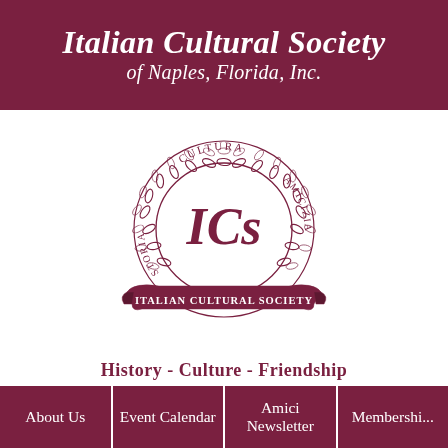Italian Cultural Society of Naples, Florida, Inc.
[Figure (logo): Circular seal/logo of the Italian Cultural Society of Naples, Florida. Features the initials 'ICs' in large text at center, surrounded by a laurel wreath with the words 'CULTURA', 'AMICIZIA', and 'STORIA' around the inner ring. A banner below reads 'ITALIAN CULTURAL SOCIETY'.]
History - Culture - Friendship
About Us | Event Calendar | Amici Newsletter | Membership